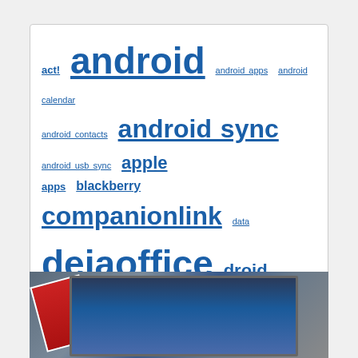[Figure (other): Tag cloud with links of varying sizes representing blog/website categories including: act!, android, android apps, android calendar, android contacts, android sync, android usb sync, apple, apps, blackberry, companionlink, data, dejaoffice, droid, google, google sync, HTC, iOS, ipad, iphone, iphone apps, iphone sync, mobile, mobile productivity, motorola, news, nokia, outlook, outlook 2010 sync, outlook sync, productivity, rim, salesforce, samsung, support, sync, tablet, tablets, tasks, tips, update, updates, verizon, windows phone, windows phone 7]
[Figure (photo): Photo of a laptop or monitor with a blue screen, and what appears to be a red/white object to the left, partially cropped at bottom of page]